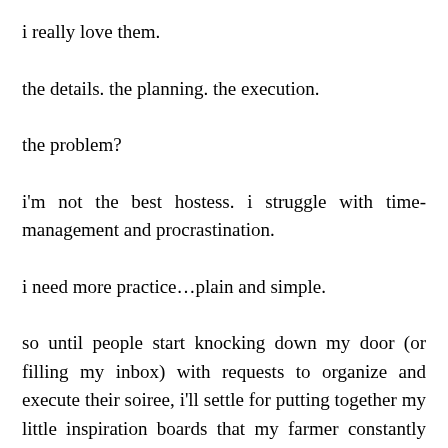i really love them.
the details. the planning. the execution.
the problem?
i'm not the best hostess. i struggle with time-management and procrastination.
i need more practice…plain and simple.
so until people start knocking down my door (or filling my inbox) with requests to organize and execute their soiree, i'll settle for putting together my little inspiration boards that my farmer constantly makes fun of.